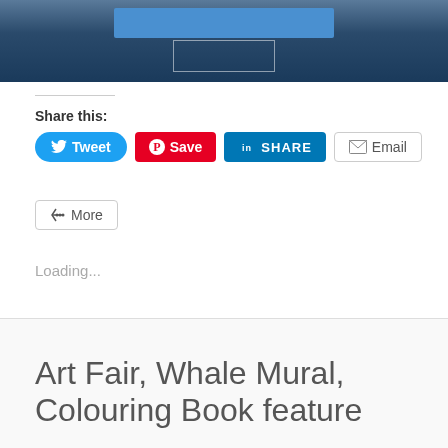[Figure (photo): Cropped photo showing a dark blue room or exhibit space with a blue banner/sign and some display elements, partially cut off at the top of the page.]
Share this:
[Figure (infographic): Social sharing buttons: Tweet (blue), Save (red Pinterest), SHARE (LinkedIn blue), Email (white/grey), More (white/grey)]
Loading...
Art Fair, Whale Mural, Colouring Book feature